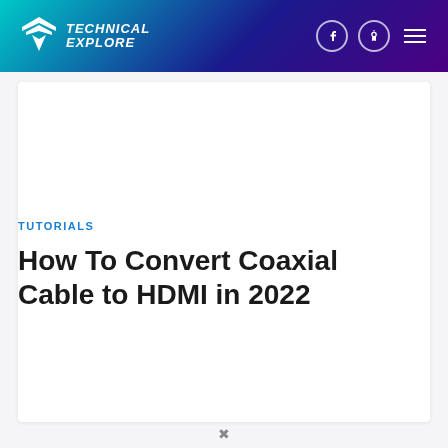Technical Explore
TUTORIALS
How To Convert Coaxial Cable to HDMI in 2022